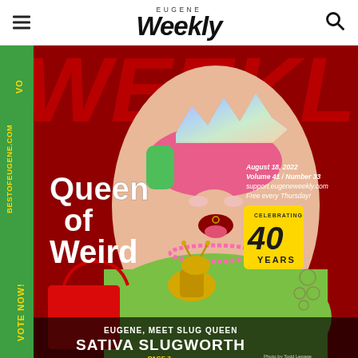Eugene Weekly
[Figure (photo): Cover of Eugene Weekly magazine featuring a person dressed as Slug Queen Sativa Slugworth in colorful costume with holographic crown, green wig, holding a golden slug trophy, against a dark red background. Text reads 'Queen of Weird'. Left side green banner reads 'VOTE NOW! BESTOFEUGENE.COM VO'. Bottom text: 'EUGENE, MEET SLUG QUEEN SATIVA SLUGWORTH PAGE 7'. Upper right corner shows date and volume info and '40 YEARS' celebrating badge. Photo by Todd Lepage.]